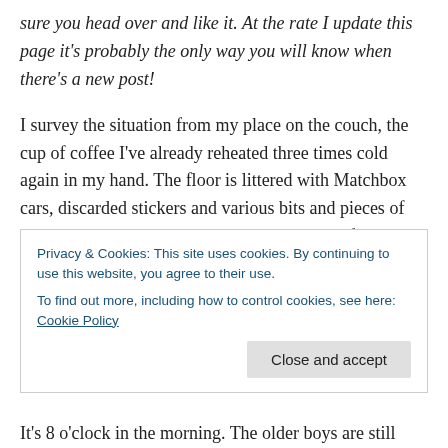sure you head over and like it. At the rate I update this page it's probably the only way you will know when there's a new post!
I survey the situation from my place on the couch, the cup of coffee I've already reheated three times cold again in my hand. The floor is littered with Matchbox cars, discarded stickers and various bits and pieces of other toys. Dog hair tumbleweeds around the furniture. I need to vacuum, but that would require buying some new vacuum
Privacy & Cookies: This site uses cookies. By continuing to use this website, you agree to their use.
To find out more, including how to control cookies, see here: Cookie Policy
It's 8 o'clock in the morning. The older boys are still